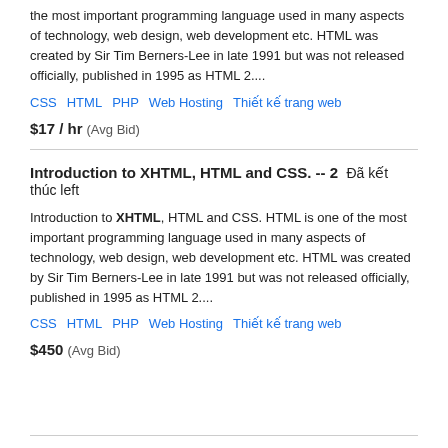the most important programming language used in many aspects of technology, web design, web development etc. HTML was created by Sir Tim Berners-Lee in late 1991 but was not released officially, published in 1995 as HTML 2....
CSS  HTML  PHP  Web Hosting  Thiết kế trang web
$17 / hr  (Avg Bid)
Introduction to XHTML, HTML and CSS. -- 2  Đã kết thúc left
Introduction to XHTML, HTML and CSS. HTML is one of the most important programming language used in many aspects of technology, web design, web development etc. HTML was created by Sir Tim Berners-Lee in late 1991 but was not released officially, published in 1995 as HTML 2....
CSS  HTML  PHP  Web Hosting  Thiết kế trang web
$450  (Avg Bid)